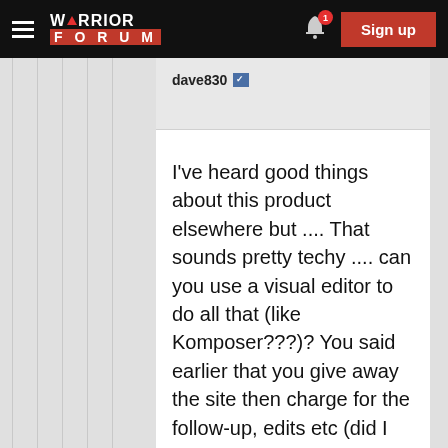Warrior Forum — Sign up
dave830
I've heard good things about this product elsewhere but .... That sounds pretty techy .... can you use a visual editor to do all that (like Komposer???)?
You said earlier that you give away the site then charge for the follow-up, edits etc (did I get